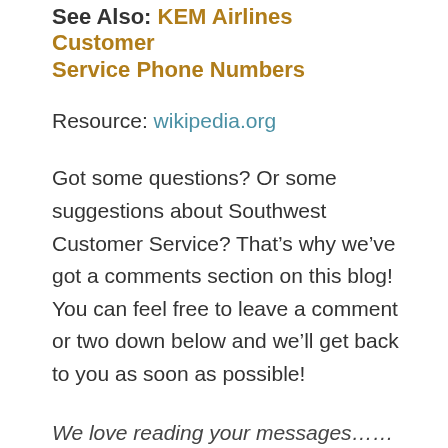See Also: KEM Airlines Customer Service Phone Numbers
Resource: wikipedia.org
Got some questions? Or some suggestions about Southwest Customer Service? That’s why we’ve got a comments section on this blog! You can feel free to leave a comment or two down below and we’ll get back to you as soon as possible!
We love reading your messages……